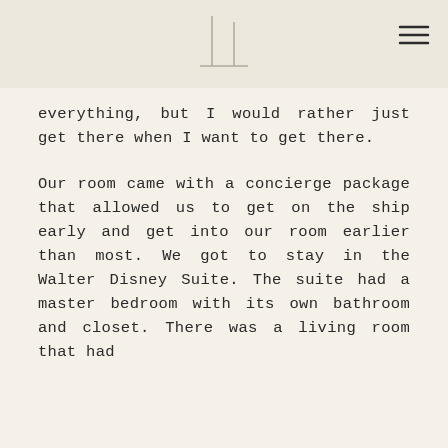[Figure (logo): Minimalist logo with two vertical lines and a horizontal baseline forming a stylized 'IL' or column shape]
everything, but I would rather just get there when I want to get there.
Our room came with a concierge package that allowed us to get on the ship early and get into our room earlier than most. We got to stay in the Walter Disney Suite. The suite had a master bedroom with its own bathroom and closet. There was a living room that had